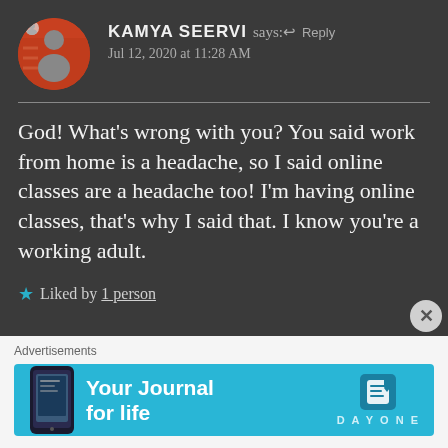KAMYA SEERVI says: ↩ Reply
Jul 12, 2020 at 11:28 AM
God! What's wrong with you? You said work from home is a headache, so I said online classes are a headache too! I'm having online classes, that's why I said that. I know you're a working adult.
★ Liked by 1 person
Advertisements
[Figure (screenshot): DayOne app advertisement banner — Your Journal for life, with phone mockup and DayOne logo on cyan background]